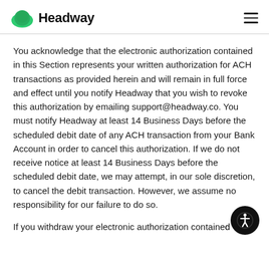Headway
You acknowledge that the electronic authorization contained in this Section represents your written authorization for ACH transactions as provided herein and will remain in full force and effect until you notify Headway that you wish to revoke this authorization by emailing support@headway.co. You must notify Headway at least 14 Business Days before the scheduled debit date of any ACH transaction from your Bank Account in order to cancel this authorization. If we do not receive notice at least 14 Business Days before the scheduled debit date, we may attempt, in our sole discretion, to cancel the debit transaction. However, we assume no responsibility for our failure to do so.
If you withdraw your electronic authorization contained